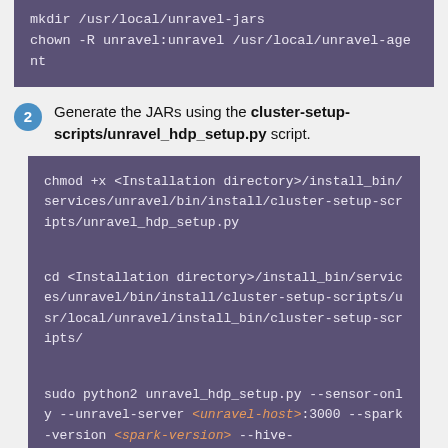mkdir /usr/local/unravel-jars
chown -R unravel:unravel /usr/local/unravel-agent
2. Generate the JARs using the cluster-setup-scripts/unravel_hdp_setup.py script.
chmod +x <Installation directory>/install_bin/services/unravel/bin/install/cluster-setup-scripts/unravel_hdp_setup.py

cd <Installation directory>/install_bin/services/unravel/bin/install/cluster-setup-scripts/usr/local/unravel/install_bin/cluster-setup-scripts/

sudo python2 unravel_hdp_setup.py --sensor-only --unravel-server <unravel-host>:3000 --spark-version <spark-version> --hive-